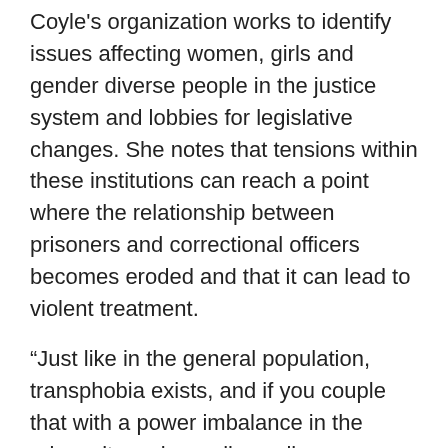Coyle's organization works to identify issues affecting women, girls and gender diverse people in the justice system and lobbies for legislative changes. She notes that tensions within these institutions can reach a point where the relationship between prisoners and correctional officers becomes eroded and that it can lead to violent treatment.
“Just like in the general population, transphobia exists, and if you couple that with a power imbalance in the prison, it can be really, really detrimental to a person’s well-being both mentally and physically,” she explains. “We’re dealing with a binary prison system that hasn’t caught up to gender considerations.”
As CSC points out, offenders have a number of